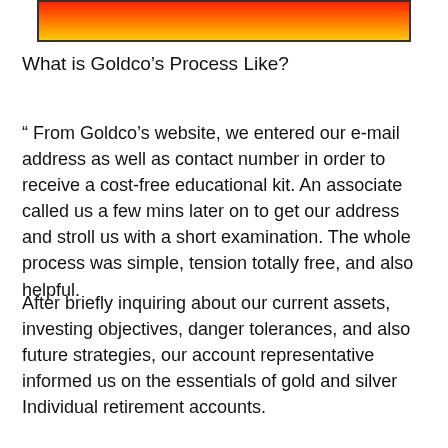[Figure (other): Decorative gradient banner with red-orange-yellow gradient and dark border]
What is Goldco’s Process Like?
“ From Goldco’s website, we entered our e-mail address as well as contact number in order to receive a cost-free educational kit. An associate called us a few mins later on to get our address and stroll us with a short examination. The whole process was simple, tension totally free, and also helpful.
After briefly inquiring about our current assets, investing objectives, danger tolerances, and also future strategies, our account representative informed us on the essentials of gold and silver Individual retirement accounts.